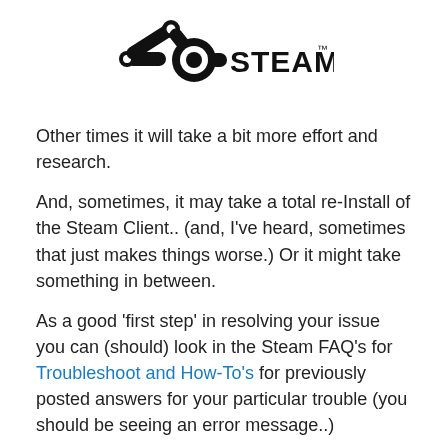[Figure (logo): Steam logo — black valve/pipe icon with 'STEAM' text and trademark symbol]
Other times it will take a bit more effort and research.
And, sometimes, it may take a total re-Install of the Steam Client.. (and, I’ve heard, sometimes that just makes things worse.) Or it might take something in between.
As a good ‘first step’ in resolving your issue you can (should) look in the Steam FAQ’s for Troubleshoot and How-To’s for previously posted answers for your particular trouble (you should be seeing an error message..)
Next, rest assured you are not the first person to have your problem, so use the ‘search feature’ in the Steam User forums. Try to use your error message as your